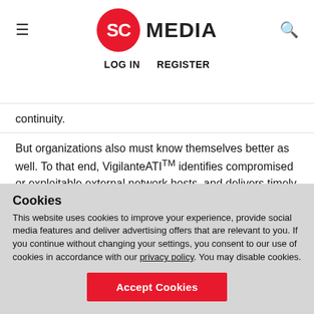SC MEDIA | LOG IN  REGISTER
continuity.
But organizations also must know themselves better as well. To that end, VigilanteATITM identifies compromised or exploitable external network hosts, and delivers timely alerts that reveal undetected network- and application-level vulnerabilities. It even scans third-party partner and vendor sites and networks for flaws as well.
Cookies
This website uses cookies to improve your experience, provide social media features and deliver advertising offers that are relevant to you. If you continue without changing your settings, you consent to our use of cookies in accordance with our privacy policy. You may disable cookies.